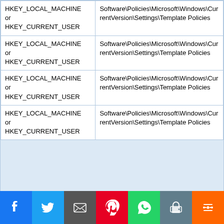| HKEY_LOCAL_MACHINE or HKEY_CURRENT_USER | Software\Policies\Microsoft\Windows\CurrentVersion\Settings\Template Policies |
| HKEY_LOCAL_MACHINE or HKEY_CURRENT_USER | Software\Policies\Microsoft\Windows\CurrentVersion\Settings\Template Policies |
| HKEY_LOCAL_MACHINE or HKEY_CURRENT_USER | Software\Policies\Microsoft\Windows\CurrentVersion\Settings\Template Policies |
| HKEY_LOCAL_MACHINE or HKEY_CURRENT_USER | Software\Policies\Microsoft\Windows\CurrentVersion\Settings\Template Policies |